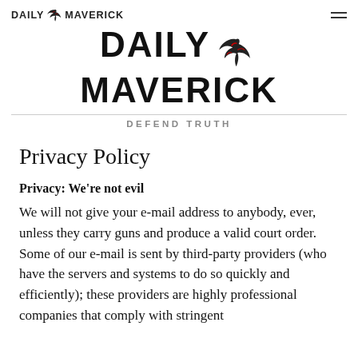DAILY MAVERICK
[Figure (logo): Daily Maverick large logo with eagle/bird emblem between DAILY and MAVERICK in bold uppercase]
DEFEND TRUTH
Privacy Policy
Privacy: We're not evil
We will not give your e-mail address to anybody, ever, unless they carry guns and produce a valid court order. Some of our e-mail is sent by third-party providers (who have the servers and systems to do so quickly and efficiently); these providers are highly professional companies that comply with stringent